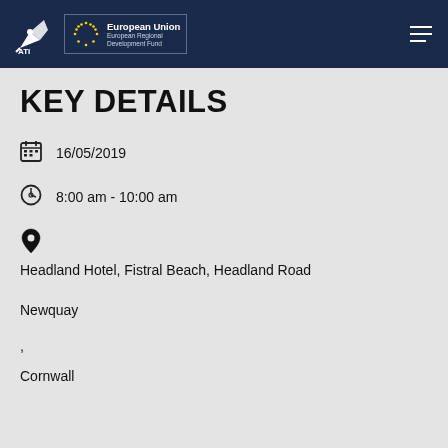ATI | European Union European Regional Development Fund
KEY DETAILS
16/05/2019
8:00 am - 10:00 am
Headland Hotel, Fistral Beach, Headland Road
Newquay
,
Cornwall